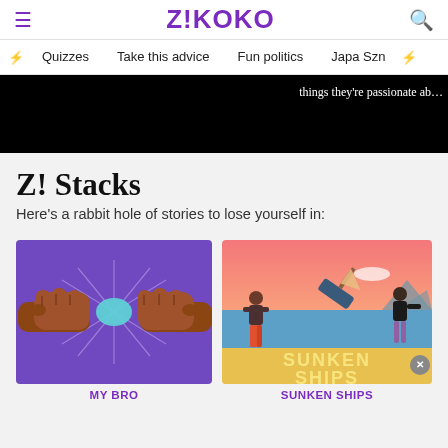Z!KOKO
Quizzes   Take this advice   Fun politics   Japa Szn
things they're passionate ab…
Z! Stacks
Here's a rabbit hole of stories to lose yourself in:
[Figure (illustration): Two fists bumping on a purple background, with a teal flash of light at the point of contact and radiating lines]
MY BRO
[Figure (illustration): Sunken Ships illustration: pink/coral sky, blue water, a sinking boat, two figures standing apart (one in red pants, one in black). Text 'SUNKEN SHIPS' in bold yellow letters on a sandy/yellow foreground]
SUNKEN SHIPS